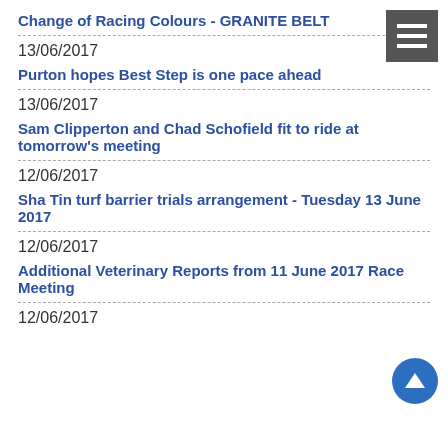Change of Racing Colours - GRANITE BELT
13/06/2017
Purton hopes Best Step is one pace ahead
13/06/2017
Sam Clipperton and Chad Schofield fit to ride at tomorrow's meeting
12/06/2017
Sha Tin turf barrier trials arrangement - Tuesday 13 June 2017
12/06/2017
Additional Veterinary Reports from 11 June 2017 Race Meeting
12/06/2017